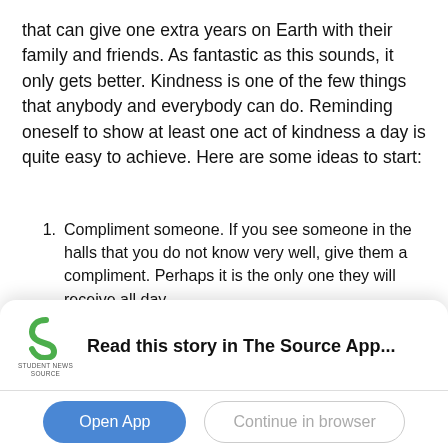that can give one extra years on Earth with their family and friends. As fantastic as this sounds, it only gets better. Kindness is one of the few things that anybody and everybody can do. Reminding oneself to show at least one act of kindness a day is quite easy to achieve. Here are some ideas to start:
1. Compliment someone. If you see someone in the halls that you do not know very well, give them a compliment. Perhaps it is the only one they will receive all day.
2. Invite the kid who sits alone at lunch to sit with you and your friends. It is always fun to get to know new people anyways.
3. Hold the door open for someone. Although this is a simple
[Figure (logo): Student News Source app logo — green stylized S with 'STUDENT NEWS SOURCE' text below]
Read this story in The Source App...
Open App   Continue in browser